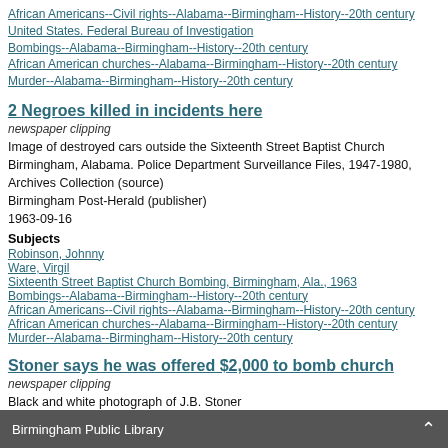African Americans--Civil rights--Alabama--Birmingham--History--20th century
United States. Federal Bureau of Investigation
Bombings--Alabama--Birmingham--History--20th century
African American churches--Alabama--Birmingham--History--20th century
Murder--Alabama--Birmingham--History--20th century
2 Negroes killed in incidents here
newspaper clipping
Image of destroyed cars outside the Sixteenth Street Baptist Church Birmingham, Alabama. Police Department Surveillance Files, 1947-1980, Archives Collection (source)
Birmingham Post-Herald (publisher)
1963-09-16
Subjects
Robinson, Johnny
Ware, Virgil
Sixteenth Street Baptist Church Bombing, Birmingham, Ala., 1963
Bombings--Alabama--Birmingham--History--20th century
African Americans--Civil rights--Alabama--Birmingham--History--20th century
African American churches--Alabama--Birmingham--History--20th century
Murder--Alabama--Birmingham--History--20th century
Stoner says he was offered $2,000 to bomb church
newspaper clipping
Black and white photograph of J.B. Stoner
Archives Department (source)
Birmingham Post-Herald (publisher)
Cornwell, Bill (creator)
1977-09-28
Birmingham Public Library